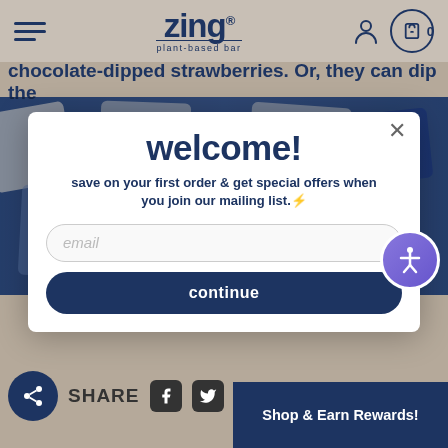[Figure (screenshot): Zing plant-based bar website header with hamburger menu, logo, user icon, and cart showing 0]
chocolate-dipped strawberries. Or, they can dip the
[Figure (photo): Background photo of colorful Zing plant-based bar packaging]
welcome!
save on your first order & get special offers when you join our mailing list.⚡
[Figure (screenshot): Email input field with placeholder text 'email']
[Figure (screenshot): Continue button - dark navy rounded rectangle]
SHARE
Shop & Earn Rewards!